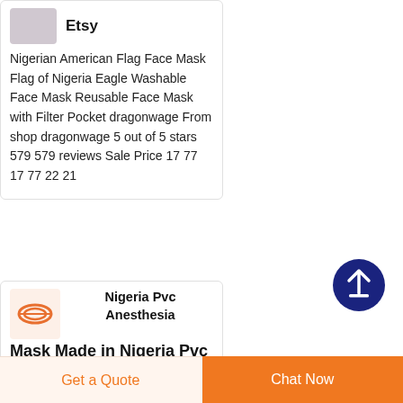Etsy
Nigerian American Flag Face Mask Flag of Nigeria Eagle Washable Face Mask Reusable Face Mask with Filter Pocket dragonwage From shop dragonwage 5 out of 5 stars 579 579 reviews Sale Price 17 77 17 77 22 21
[Figure (logo): Small thumbnail image placeholder for Etsy product]
Nigeria Pvc Anesthesia Mask Made in Nigeria Pvc
[Figure (photo): Small product thumbnail showing orange/red chain or ring item]
Nigeria Pvc Anesthesia Mask